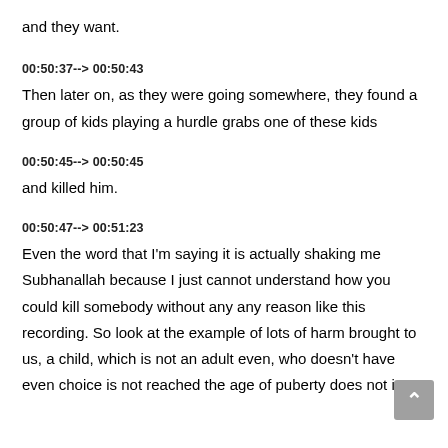and they want.
00:50:37--> 00:50:43
Then later on, as they were going somewhere, they found a group of kids playing a hurdle grabs one of these kids
00:50:45--> 00:50:45
and killed him.
00:50:47--> 00:51:23
Even the word that I'm saying it is actually shaking me Subhanallah because I just cannot understand how you could kill somebody without any any reason like this recording. So look at the example of lots of harm brought to us, a child, which is not an adult even, who doesn't have even choice is not reached the age of puberty does not is